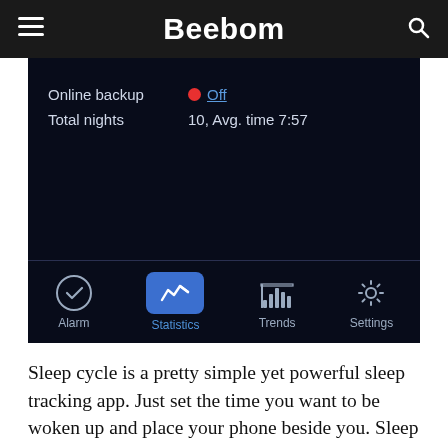Beebom
[Figure (screenshot): Sleep cycle app screenshot showing Online backup Off, Total nights 10 Avg. time 7:57, with bottom tab bar showing Alarm, Statistics (active), Trends, Settings]
Sleep cycle is a pretty simple yet powerful sleep tracking app. Just set the time you want to be woken up and place your phone beside you. Sleep cycle uses your phone's accelerometer sensor and microphone